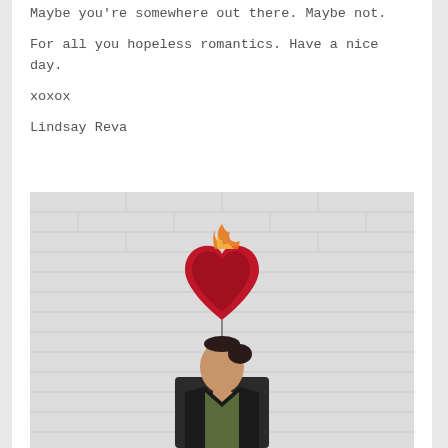Maybe you're somewhere out there. Maybe not.

For all you hopeless romantics. Have a nice day.

xoxox

Lindsay Reva
[Figure (photo): A young woman with dark hair in a bun leans against a white brick wall, looking down with eyes closed, touching her neck with one hand, wearing a black jacket. Above her on the wall hangs a red sacred heart balloon or decoration with an orange flame on top.]